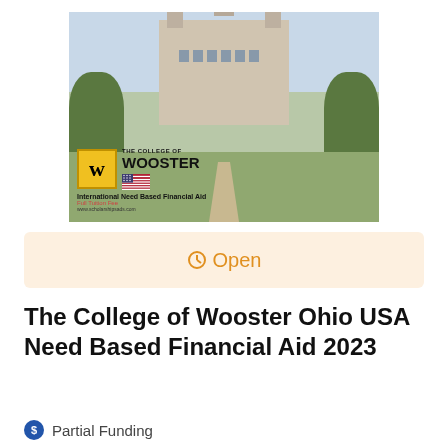[Figure (photo): Photo of The College of Wooster campus building with logo overlay showing 'THE COLLEGE OF WOOSTER', US flag, 'International Need Based Financial Aid', 'Full Tuition Fee', and website 'www.scholarshipsads.com']
Open
The College of Wooster Ohio USA Need Based Financial Aid 2023
Partial Funding